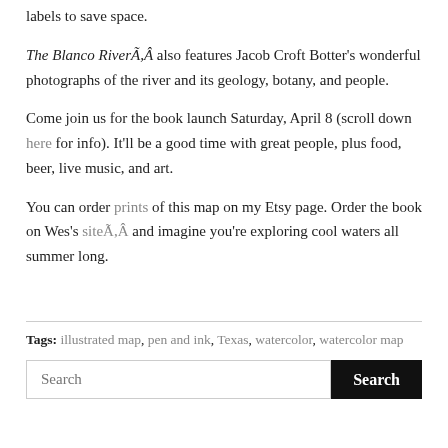labels to save space.
The Blanco RiverÃ,Â also features Jacob Croft Botter's wonderful photographs of the river and its geology, botany, and people.
Come join us for the book launch Saturday, April 8 (scroll down here for info). It'll be a good time with great people, plus food, beer, live music, and art.
You can order prints of this map on my Etsy page. Order the book on Wes's siteÃ,Â and imagine you're exploring cool waters all summer long.
Tags: illustrated map, pen and ink, Texas, watercolor, watercolor map